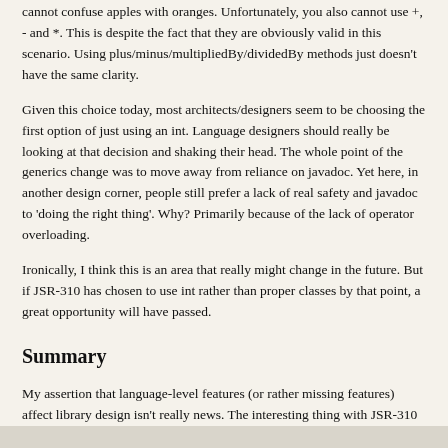cannot confuse apples with oranges. Unfortunately, you also cannot use +, - and *. This is despite the fact that they are obviously valid in this scenario. Using plus/minus/multipliedBy/dividedBy methods just doesn't have the same clarity.
Given this choice today, most architects/designers seem to be choosing the first option of just using an int. Language designers should really be looking at that decision and shaking their head. The whole point of the generics change was to move away from reliance on javadoc. Yet here, in another design corner, people still prefer a lack of real safety and javadoc to 'doing the right thing'. Why? Primarily because of the lack of operator overloading.
Ironically, I think this is an area that really might change in the future. But if JSR-310 has chosen to use int rather than proper classes by that point, a great opportunity will have passed.
Summary
My assertion that language-level features (or rather missing features) affect library design isn't really news. The interesting thing with JSR-310 is just how constraining the missing features are proving to be.
The trouble is that with no clear idea on where the future of the Java language lies, a JSR like 310 cannot make good choices which will fit well with future language change. The danger is that we simply create another date and time library that doesn't fit well with the Java language of 2010 or later.
Opinions welcome on whether JSR-310 should completely ignore potential language changes, or try to make a best guess for the future.